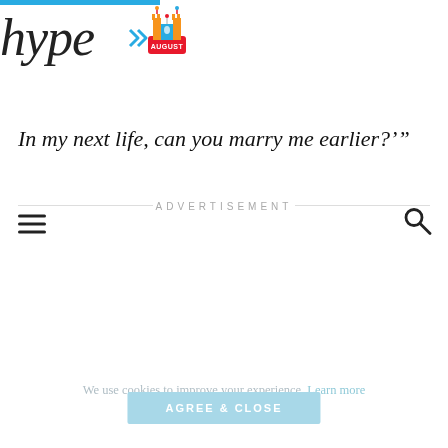hype [logo with AUGUST badge] — hamburger menu and search icon
In my next life, can you marry me earlier?’”
ADVERTISEMENT
We use cookies to improve your experience. Learn more
AGREE & CLOSE